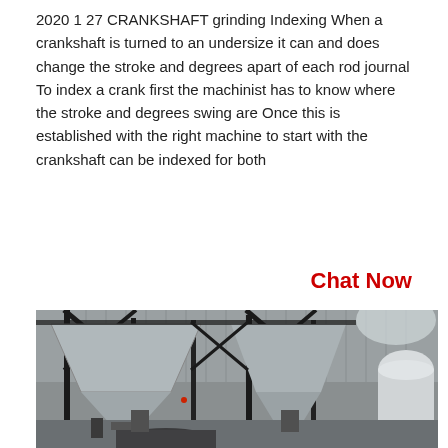2020 1 27 CRANKSHAFT grinding Indexing When a crankshaft is turned to an undersize it can and does change the stroke and degrees apart of each rod journal To index a crank first the machinist has to know where the stroke and degrees swing are Once this is established with the right machine to start with the crankshaft can be indexed for both
Chat Now
[Figure (photo): Industrial machinery inside a large warehouse or factory. The photo shows large metal hopper/silo structures with black steel frames and supports, corrugated metal walls in the background, cylindrical white ductwork on the right side, and various pipes, hoses, and equipment at the base including what appears to be a large cylindrical drum or boiler at the bottom.]